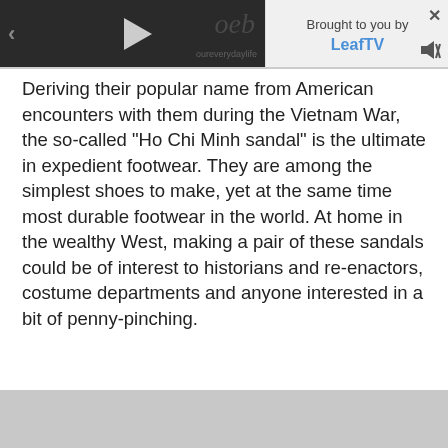[Figure (screenshot): Video player thumbnail with dark background, left arrow, play button triangle, and stylized 'oeb' text with 'oureverydaylife' subtitle. To the right is a sponsored panel showing 'Brought to you by' and 'LeafTV' with a close button and mute icon.]
Deriving their popular name from American encounters with them during the Vietnam War, the so-called "Ho Chi Minh sandal" is the ultimate in expedient footwear. They are among the simplest shoes to make, yet at the same time most durable footwear in the world. At home in the wealthy West, making a pair of these sandals could be of interest to historians and re-enactors, costume departments and anyone interested in a bit of penny-pinching.